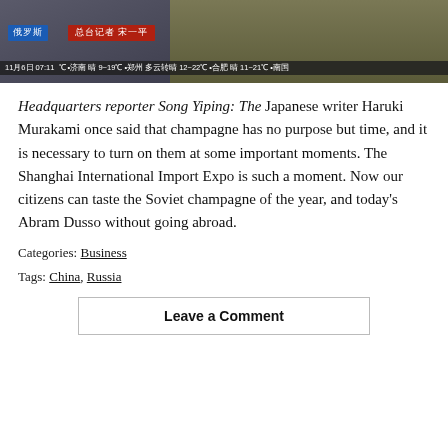[Figure (screenshot): TV news screenshot showing a reporter on set with champagne bottles in background. Chinese text overlay shows '俄罗斯' and '总台记者 宋一平' in blue and red banners. Bottom ticker shows '11月6日 07:11' with weather info for various Chinese cities.]
Headquarters reporter Song Yiping: The Japanese writer Haruki Murakami once said that champagne has no purpose but time, and it is necessary to turn on them at some important moments. The Shanghai International Import Expo is such a moment. Now our citizens can taste the Soviet champagne of the year, and today's Abram Dusso without going abroad.
Categories: Business
Tags: China, Russia
Leave a Comment